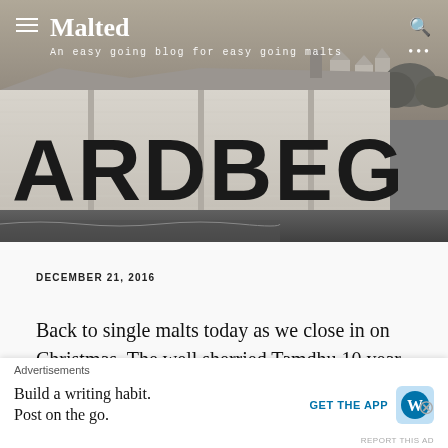[Figure (photo): Grayscale photograph of the Ardbeg distillery white-painted wall with large black letters spelling ARDBEG, with buildings and coastal scenery in background]
Malted
An easy going blog for easy going malts
DECEMBER 21, 2016
Back to single malts today as we close in on Christmas. The well sherried Tamdhu 10 year old
Advertisements
Build a writing habit.
Post on the go.
GET THE APP